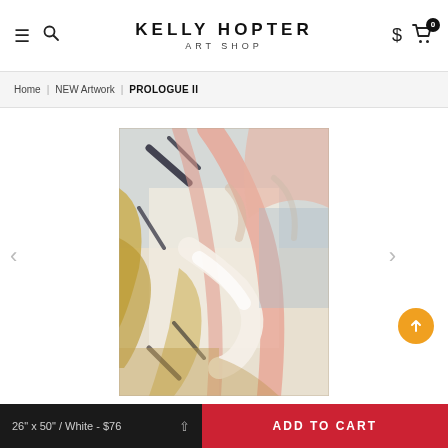KELLY HOPTER ART SHOP
Home | NEW Artwork | PROLOGUE II
[Figure (illustration): Abstract painting 'Prologue II' showing broad brushstrokes in pink, salmon, gold/tan, white, and dark navy/black tones, with gestural abstract expressionist style]
26" x 50" / White - $76
ADD TO CART